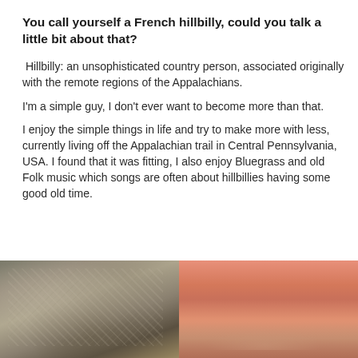You call yourself a French hillbilly, could you talk a little bit about that?
Hillbilly: an unsophisticated country person, associated originally with the remote regions of the Appalachians.
I'm a simple guy, I don't ever want to become more than that.
I enjoy the simple things in life and try to make more with less, currently living off the Appalachian trail in Central Pennsylvania, USA. I found that it was fitting, I also enjoy Bluegrass and old Folk music which songs are often about hillbillies having some good old time.
[Figure (photo): Two side-by-side photos: left shows rocky mountain terrain with grey and brown rocks; right shows an orange/salmon-colored sunset sky with clouds.]